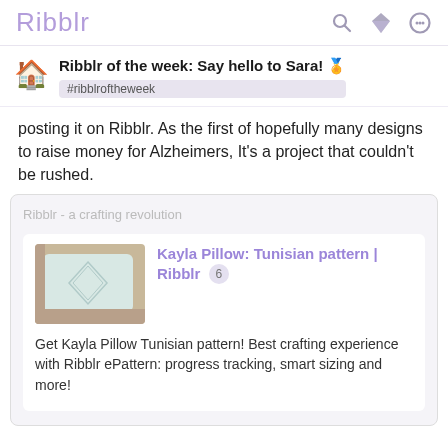Ribblr
Ribblr of the week: Say hello to Sara! 🏅 #ribblroftheweek
posting it on Ribblr. As the first of hopefully many designs to raise money for Alzheimers, It's a project that couldn't be rushed.
[Figure (screenshot): Embedded link card for 'Kayla Pillow: Tunisian pattern | Ribblr' with thumbnail image of a pillow, title in purple, count badge '6', and description text. Source label: 'Ribblr - a crafting revolution']